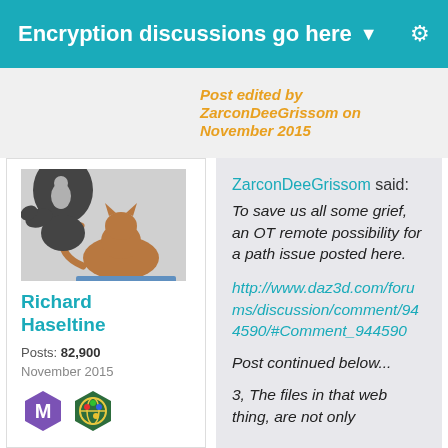Encryption discussions go here ▼
Post edited by ZarconDeeGrissom on November 2015
[Figure (illustration): User avatar image showing a cat silhouette and a person's profile silhouette]
Richard Haseltine
Posts: 82,900
November 2015
[Figure (illustration): Two user badges: purple hexagon M badge and a globe badge]
ZarconDeeGrissom said: To save us all some grief, an OT remote possibility for a path issue posted here.
http://www.daz3d.com/forums/discussion/comment/944590/#Comment_944590
Post continued below...
3, The files in that web thing, are not only